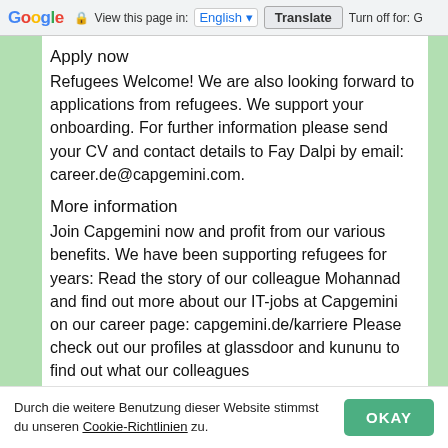Google | View this page in: English | Translate | Turn off for: G
Apply now
Refugees Welcome! We are also looking forward to applications from refugees. We support your onboarding. For further information please send your CV and contact details to Fay Dalpi by email: career.de@capgemini.com.
More information
Join Capgemini now and profit from our various benefits. We have been supporting refugees for years: Read the story of our colleague Mohannad and find out more about our IT-jobs at Capgemini on our career page: capgemini.de/karriere Please check out our profiles at glassdoor and kununu to find out what our colleagues
Durch die weitere Benutzung dieser Website stimmst du unseren Cookie-Richtlinien zu.